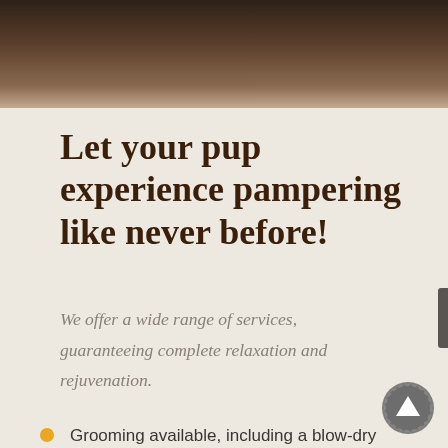[Figure (photo): Dark brown blurred background banner at top of page]
Let your pup experience pampering like never before!
We offer a wide range of services, guaranteeing complete relaxation and rejuvenation.
Grooming available, including a blow-dry and brush-out.
No cages – only personal suites await